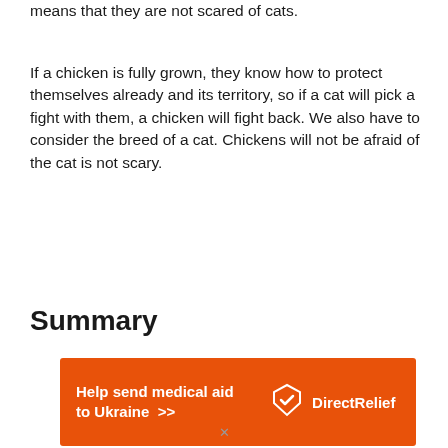means that they are not scared of cats.
If a chicken is fully grown, they know how to protect themselves already and its territory, so if a cat will pick a fight with them, a chicken will fight back. We also have to consider the breed of a cat. Chickens will not be afraid of the cat is not scary.
Summary
[Figure (infographic): Orange advertisement banner for Direct Relief: 'Help send medical aid to Ukraine >>' with Direct Relief logo on the right.]